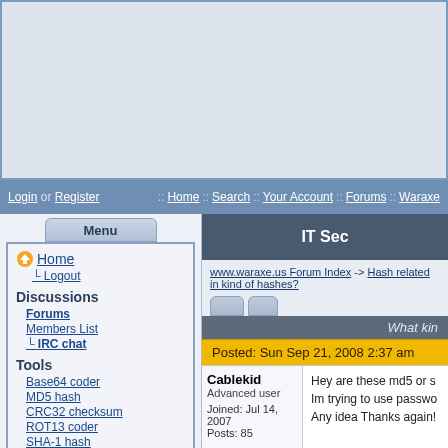[Figure (screenshot): Banner/advertisement area at top of webpage]
Login or Register :: Home :: Search :: Your Account :: Forums :: Waraxe
Menu
Home
Logout
Discussions
Forums
Members List
IRC chat
Tools
Base64 coder
MD5 hash
CRC32 checksum
ROT13 coder
SHA-1 hash
URL-decoder
Sql Char Encoder
Affiliates
y3dips ITsec
Md5 Cracker
User Manuals
AlbumNow
IT Sec
www.waraxe.us Forum Index -> Hash related in kind of hashes?
What kin
Posted: Sun Sep 21, 2008 2:37 am
Cablekid
Advanced user
Joined: Jul 14, 2007
Posts: 85
Hey are these md5 or s
Im trying to use passwo
Any idea Thanks again!